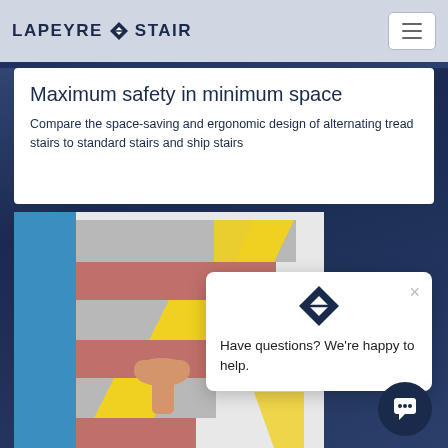LAPEYRE STAIR
Maximum safety in minimum space
Compare the space-saving and ergonomic design of alternating tread stairs to standard stairs and ship stairs
[Figure (illustration): Illustration of alternating tread stair design showing blue side panel, pink/red stair treads, yellow diagonal risers, and a foot/leg demonstrating ergonomic use]
[Figure (other): Chat widget popup with Lapeyre Stair diamond logo and text: Have questions? We're happy to help.]